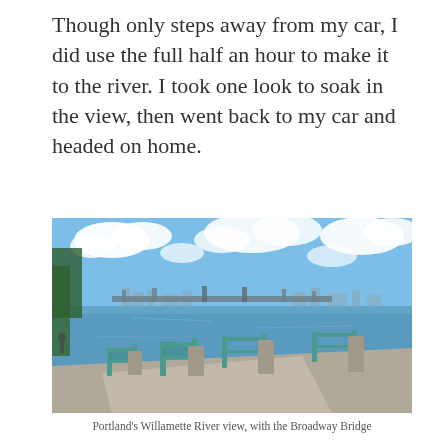Though only steps away from my car, I did use the full half an hour to make it to the river. I took one look to soak in the view, then went back to my car and headed on home.
[Figure (photo): Photograph of Portland's Willamette River waterfront showing a teal/green iron railing along a concrete promenade, with the Broadway Bridge and city skyline visible across the calm blue river under a partly cloudy blue sky.]
Portland's Willamette River view, with the Broadway Bridge